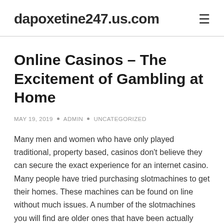dapoxetine247.us.com
Online Casinos – The Excitement of Gambling at Home
MAY 19, 2019 • ADMIN • UNCATEGORIZED
Many men and women who have only played traditional, property based, casinos don't believe they can secure the exact experience for an internet casino. Many people have tried purchasing slotmachines to get their homes. These machines can be found on line without much issues. A number of the slotmachines you will find are older ones that have been actually used within casinos. They will surely cost you some hundred bucks